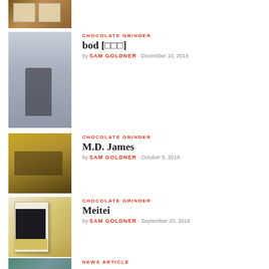[Figure (photo): Partial view of top thumbnail, brown wooden background with papers]
[Figure (photo): Person standing in foggy grey background]
CHOCOLATE GRINDER
bod [□□□]
by SAM GOLDNER · December 10, 2018
[Figure (photo): Person lying in hay/straw outdoors]
CHOCOLATE GRINDER
M.D. James
by SAM GOLDNER · October 5, 2018
[Figure (photo): Book cover with figure, yellow and dark tones]
CHOCOLATE GRINDER
Meitei
by SAM GOLDNER · September 20, 2018
[Figure (photo): Partial teal/green thumbnail at bottom]
NEWS ARTICLE